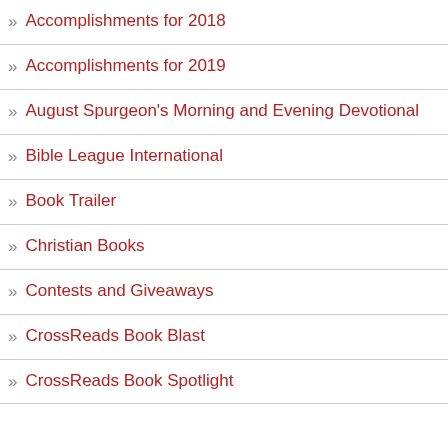Accomplishments for 2018
Accomplishments for 2019
August Spurgeon's Morning and Evening Devotional
Bible League International
Book Trailer
Christian Books
Contests and Giveaways
CrossReads Book Blast
CrossReads Book Spotlight
DNA so they would always rep satisfied with the result. The thi
God spoke lights in the space o identify seasons, days, and yea made the sun to rule the day an placed them in the space of hea fourth day.
God also commanded the wate whales along with all the abund and bountiful fowl: all with instru copious reproduction. God saw blessed his work with fertile pro ended the fifth day.
So God told the earth to bring fe family and class with their own pleased with the result and said